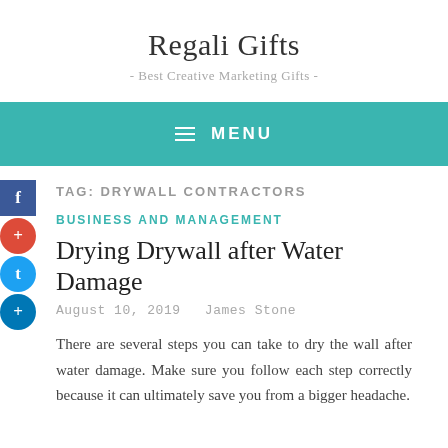Regali Gifts
- Best Creative Marketing Gifts -
MENU
TAG: DRYWALL CONTRACTORS
BUSINESS AND MANAGEMENT
Drying Drywall after Water Damage
August 10, 2019   James Stone
There are several steps you can take to dry the wall after water damage. Make sure you follow each step correctly because it can ultimately save you from a bigger headache.